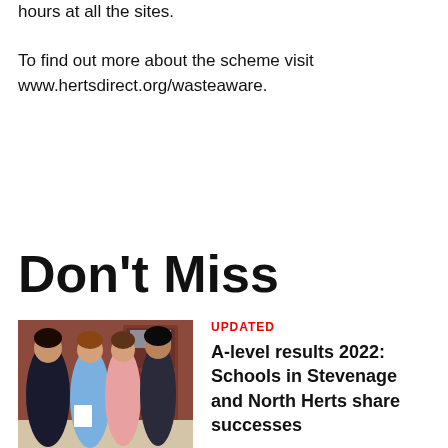hours at all the sites.

To find out more about the scheme visit www.hertsdirect.org/wasteaware.
Don't Miss
[Figure (photo): Group of young people holding papers, celebrating A-level results]
UPDATED
A-level results 2022: Schools in Stevenage and North Herts share successes